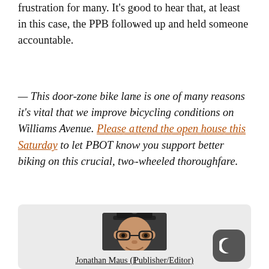frustration for many. It's good to hear that, at least in this case, the PPB followed up and held someone accountable.
— This door-zone bike lane is one of many reasons it's vital that we improve bicycling conditions on Williams Avenue. Please attend the open house this Saturday to let PBOT know you support better biking on this crucial, two-wheeled thoroughfare.
[Figure (photo): Headshot of a man wearing a black cap and glasses, smiling, with a dark sweater. Below the photo is the name Jonathan Maus (Publisher/Editor) with an underline.]